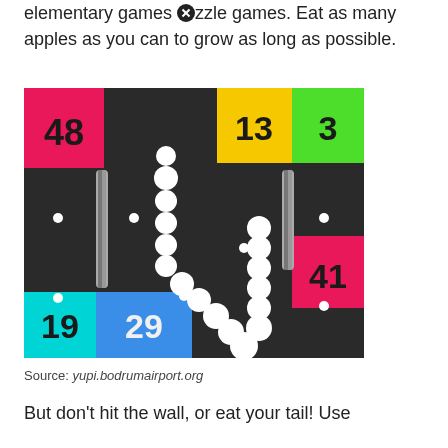elementary games ⓧzzle games. Eat as many apples as you can to grow as long as possible.
[Figure (screenshot): Screenshot of a snake game on a dark background. Colored numbered tiles: pink tile '48' top-left, yellow tile '13' top-right area, green tile '3' top-right corner, pink tile '41' right side, cyan tile '19' bottom-left, blue tile '29' bottom-left. A white snake made of circles forms an N shape in the center. Small white dots scattered around.]
Source: yupi.bodrumairport.org
But don't hit the wall, or eat your tail! Use